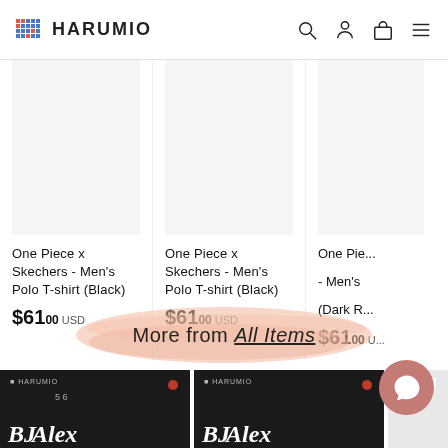HARUMIO
One Piece x Skechers - Men's Polo T-shirt (Black)
$61.00 USD
One Piece x Skechers - Men's Polo T-shirt (Black)
$61.00 USD
One Piece x Skechers - Men's Polo T-shirt (Dark R...
$61.00 U...
More from All Items
[Figure (screenshot): BJ Alex product preview cards at bottom of page]